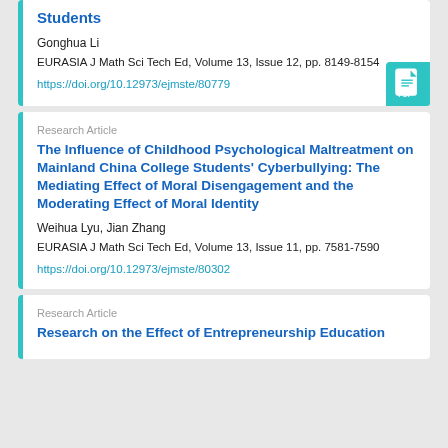Students
Gonghua Li
EURASIA J Math Sci Tech Ed, Volume 13, Issue 12, pp. 8149-8154
https://doi.org/10.12973/ejmste/80779
Research Article
The Influence of Childhood Psychological Maltreatment on Mainland China College Students' Cyberbullying: The Mediating Effect of Moral Disengagement and the Moderating Effect of Moral Identity
Weihua Lyu, Jian Zhang
EURASIA J Math Sci Tech Ed, Volume 13, Issue 11, pp. 7581-7590
https://doi.org/10.12973/ejmste/80302
Research Article
Research on the Effect of Entrepreneurship Education